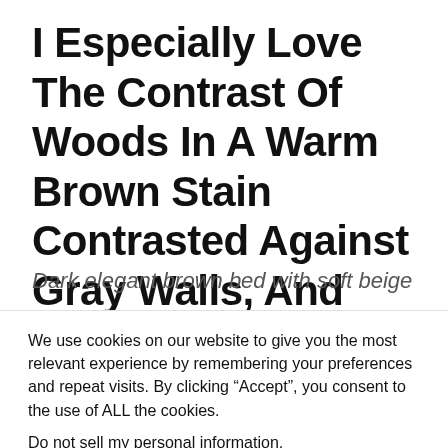I Especially Love The Contrast Of Woods In A Warm Brown Stain Contrasted Against Gray Walls, And White Trim That Makes It Pop.
Dark elegant brown bed with soft beige wall
We use cookies on our website to give you the most relevant experience by remembering your preferences and repeat visits. By clicking “Accept”, you consent to the use of ALL the cookies.
Do not sell my personal information.